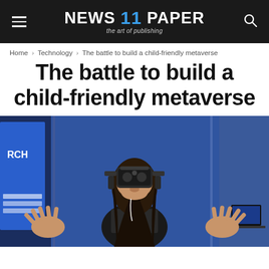NEWS 11 PAPER — the art of publishing
Home › Technology › The battle to build a child-friendly metaverse
The battle to build a child-friendly metaverse
[Figure (photo): A woman wearing a VR headset looking upward with hands outstretched at a technology expo, blue banners in background]